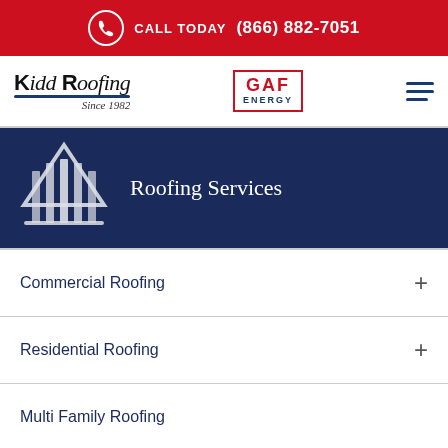CALL TODAY (866) 882-7051
[Figure (logo): Kidd Roofing Since 1982 logo with blue underline]
[Figure (logo): GAF ENERGY badge logo with red border]
[Figure (illustration): Hamburger menu icon with three horizontal navy lines]
[Figure (illustration): Roofing Services hero banner with navy background, white roof icon, and text 'Roofing Services']
Commercial Roofing
Residential Roofing
Multi Family Roofing
[Figure (illustration): Bottom navy bar with red and navy chevron/arrow pointing down]